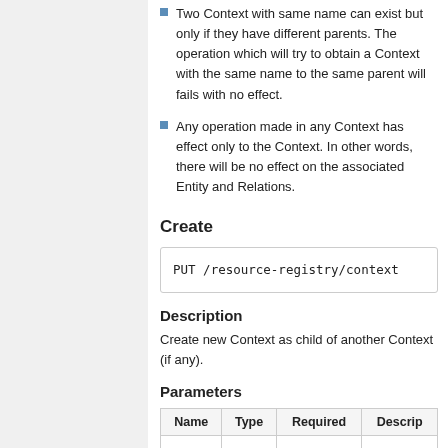Two Context with same name can exist but only if they have different parents. The operation which will try to obtain a Context with the same name to the same parent will fails with no effect.
Any operation made in any Context has effect only to the Context. In other words, there will be no effect on the associated Entity and Relations.
Create
PUT /resource-registry/context
Description
Create new Context as child of another Context (if any).
Parameters
| Name | Type | Required | Descrip... |
| --- | --- | --- | --- |